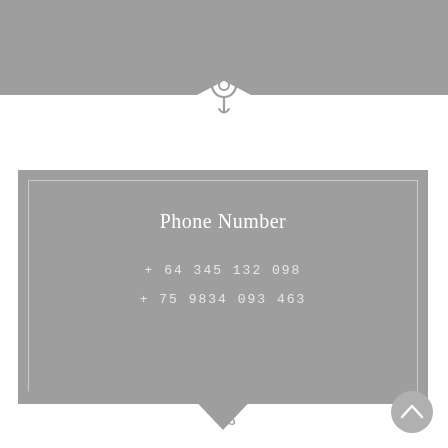[Figure (illustration): Gray banner at top with a downward chevron cutout revealing a location pin icon below on white background]
[Figure (illustration): Gray card panel with inner border, containing phone number information and a chevron cutout at bottom with phone handset icon]
Phone Number
+ 64 345 132 098
+ 75 9834 093 463
[Figure (illustration): Circular scroll-up button with upward chevron arrow, gray, bottom right corner]